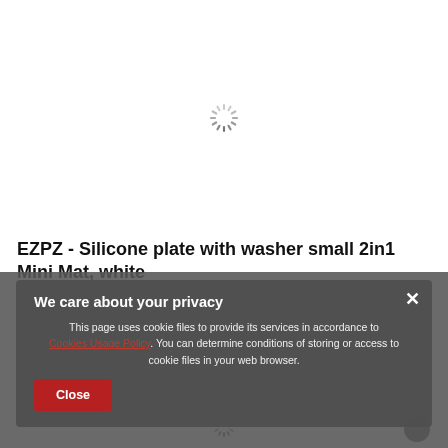[Figure (other): Spinning loading indicator (spinner) centered in upper portion of page]
EZPZ - Silicone plate with washer small 2in1 Mini Mat, white
[Figure (screenshot): Privacy cookie consent modal overlay with title 'We care about your privacy', body text about cookie usage policy, a red Close button, and an X close icon in top right corner]